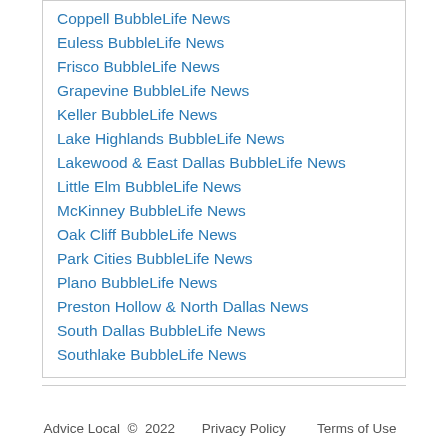Coppell BubbleLife News
Euless BubbleLife News
Frisco BubbleLife News
Grapevine BubbleLife News
Keller BubbleLife News
Lake Highlands BubbleLife News
Lakewood & East Dallas BubbleLife News
Little Elm BubbleLife News
McKinney BubbleLife News
Oak Cliff BubbleLife News
Park Cities BubbleLife News
Plano BubbleLife News
Preston Hollow & North Dallas News
South Dallas BubbleLife News
Southlake BubbleLife News
Advice Local  ©  2022    Privacy Policy    Terms of Use